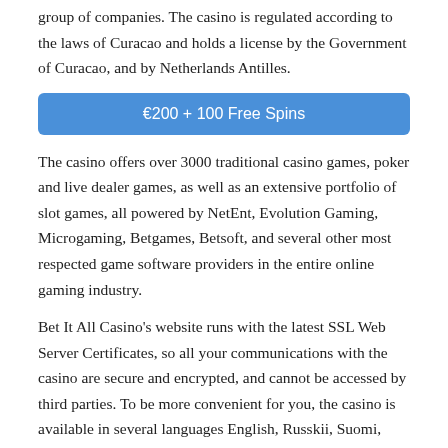group of companies. The casino is regulated according to the laws of Curacao and holds a license by the Government of Curacao, and by Netherlands Antilles.
[Figure (other): Blue button banner with text: €200 + 100 Free Spins]
The casino offers over 3000 traditional casino games, poker and live dealer games, as well as an extensive portfolio of slot games, all powered by NetEnt, Evolution Gaming, Microgaming, Betgames, Betsoft, and several other most respected game software providers in the entire online gaming industry.
Bet It All Casino's website runs with the latest SSL Web Server Certificates, so all your communications with the casino are secure and encrypted, and cannot be accessed by third parties. To be more convenient for you, the casino is available in several languages English, Russkii, Suomi, Turkce and Svenska.
FREE SPINS NO DEPOSIT
For the time being, Bet It All doesn't have an active No Deposit